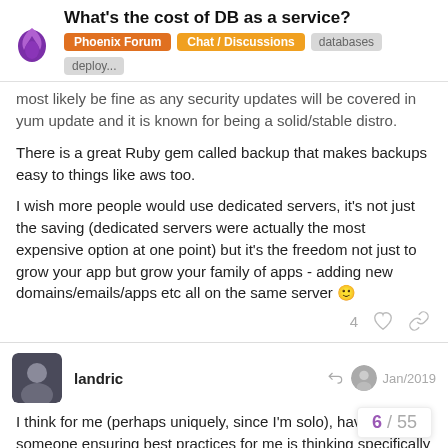What's the cost of DB as a service? — Phoenix Forum | Chat / Discussions | databases | deploy...
most likely be fine as any security updates will be covered in yum update and it is known for being a solid/stable distro.
There is a great Ruby gem called backup that makes backups easy to things like aws too.
I wish more people would use dedicated servers, it's not just the saving (dedicated servers were actually the most expensive option at one point) but it's the freedom not just to grow your app but grow your family of apps - adding new domains/emails/apps etc all on the same server 🙂
landric — Jan/2019
I think for me (perhaps uniquely, since I'm solo), having someone ensuring best practices for me is thinking specifically about security and bac...
6 / 55